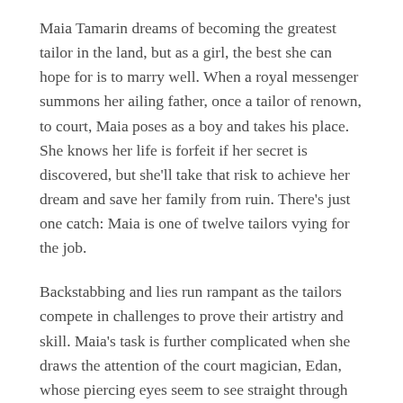Maia Tamarin dreams of becoming the greatest tailor in the land, but as a girl, the best she can hope for is to marry well. When a royal messenger summons her ailing father, once a tailor of renown, to court, Maia poses as a boy and takes his place. She knows her life is forfeit if her secret is discovered, but she'll take that risk to achieve her dream and save her family from ruin. There's just one catch: Maia is one of twelve tailors vying for the job.
Backstabbing and lies run rampant as the tailors compete in challenges to prove their artistry and skill. Maia's task is further complicated when she draws the attention of the court magician, Edan, whose piercing eyes seem to see straight through her disguise.
And nothing could have prepared her for the final challenge: to sew three magic gowns for the emperor's reluctant bride-to-be, from the laughter of the sun, the